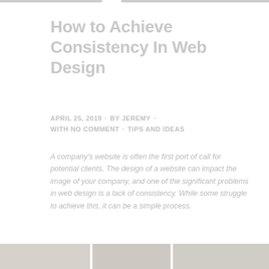How to Achieve Consistency In Web Design
APRIL 25, 2019 · BY JEREMY · WITH NO COMMENT · TIPS AND IDEAS
A company's website is often the first port of call for potential clients. The design of a website can impact the image of your company, and one of the significant problems in web design is a lack of consistency. While some struggle to achieve this, it can be a simple process.
[Figure (photo): Three thumbnail images at the bottom of the page, side by side, partially visible]